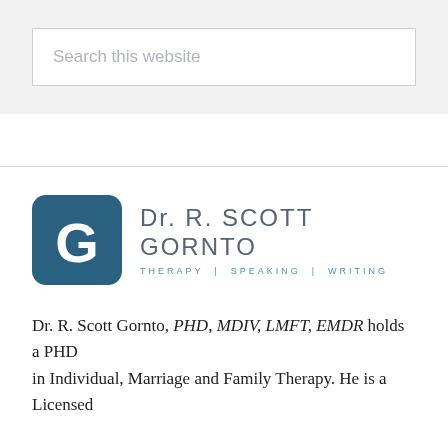[Figure (screenshot): Search box with placeholder text 'Search this website' on a light gray background]
[Figure (logo): Dr. R. Scott Gornto logo with teal G icon and text 'Dr. R. SCOTT GORNTO THERAPY | SPEAKING | WRITING']
Dr. R. Scott Gornto, PHD, MDIV, LMFT, EMDR holds a PHD in Individual, Marriage and Family Therapy. He is a Licensed